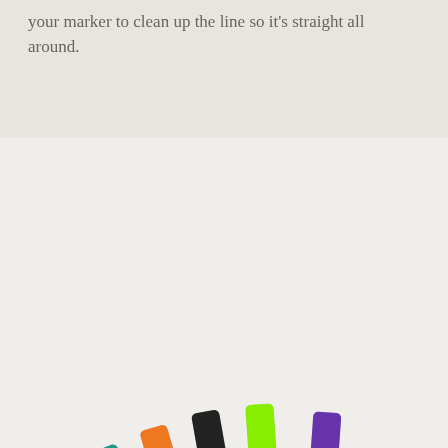your marker to clean up the line so it's straight all around.
[Figure (photo): A hand holding a fan of colorful Sharpie markers and a small red colored pencil against a white background. Multiple markers in yellow, pink, green, teal, orange, black, bright green, purple, and blue are visible along with a tiny red pencil.]
Now you have a tiny colored pencil.
[Figure (photo): Partial view of a crafting surface showing the bottom portion of another photo, cropped at the page edge.]